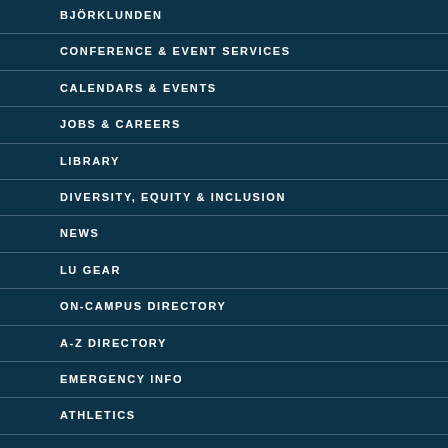BJÖRKLUNDEN
CONFERENCE & EVENT SERVICES
CALENDARS & EVENTS
JOBS & CAREERS
LIBRARY
DIVERSITY, EQUITY & INCLUSION
NEWS
LU GEAR
ON-CAMPUS DIRECTORY
A-Z DIRECTORY
EMERGENCY INFO
ATHLETICS